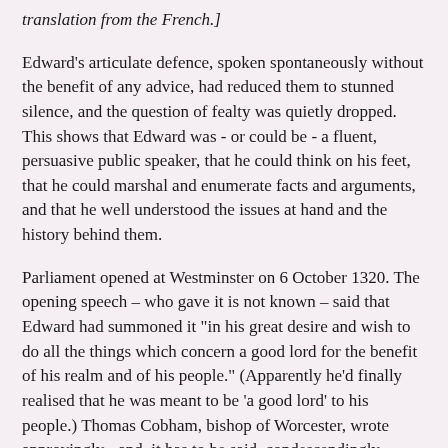translation from the French.]
Edward's articulate defence, spoken spontaneously without the benefit of any advice, had reduced them to stunned silence, and the question of fealty was quietly dropped. This shows that Edward was - or could be - a fluent, persuasive public speaker, that he could think on his feet, that he could marshal and enumerate facts and arguments, and that he well understood the issues at hand and the history behind them.
Parliament opened at Westminster on 6 October 1320. The opening speech – who gave it is not known – said that Edward had summoned it "in his great desire and wish to do all the things which concern a good lord for the benefit of his realm and of his people." (Apparently he'd finally realised that he was meant to be 'a good lord' to his people.) Thomas Cobham, bishop of Worcester, wrote approvingly - and, it has to be said, condescendingly - about Edward's behaviour at the parliament, in a letter to Pope John XXII:
"Besides which, Holy Father, your devoted son, our lord the king, in the parliament summoned to London bore himself splendidly,